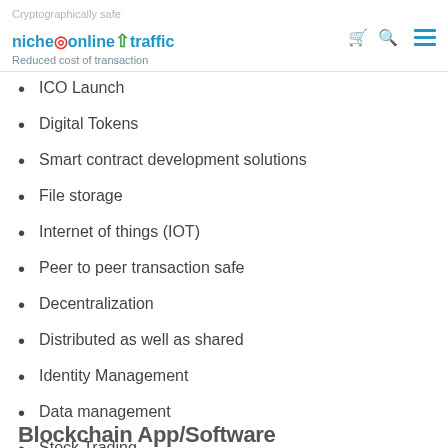Cryptographically safe | nicheonlinetraffic | Reduced cost of transaction
ICO Launch
Digital Tokens
Smart contract development solutions
File storage
Internet of things (IOT)
Peer to peer transaction safe
Decentralization
Distributed as well as shared
Identity Management
Data management
Stock Trading
Land title registration
Transparency
Cost effective supply chain management
Blockchain App/Software